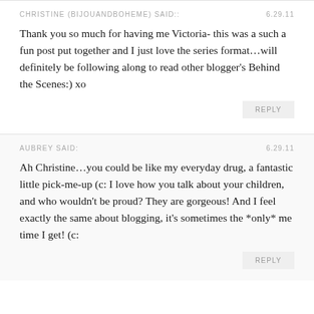CHRISTINE (BIJOUANDBOHEME) SAID:: 6.29.11
Thank you so much for having me Victoria- this was a such a fun post put together and I just love the series format…will definitely be following along to read other blogger's Behind the Scenes:) xo
REPLY
AUBREY SAID: 6.29.11
Ah Christine…you could be like my everyday drug, a fantastic little pick-me-up (c: I love how you talk about your children, and who wouldn't be proud? They are gorgeous! And I feel exactly the same about blogging, it's sometimes the *only* me time I get! (c:
REPLY